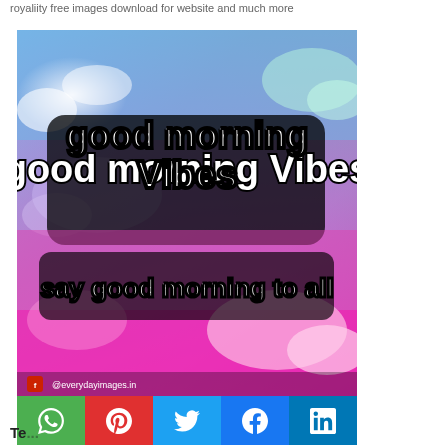royaliity free images download for website and much more
[Figure (illustration): Colorful good morning vibes image with gradient background (blue, purple, pink, magenta) and text 'good morning Vibes' and 'say good morning to all' with @everydayimages.in watermark]
Te...